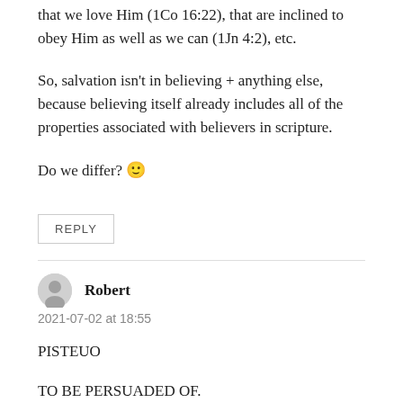that we love Him (1Co 16:22), that are inclined to obey Him as well as we can (1Jn 4:2), etc.
So, salvation isn't in believing + anything else, because believing itself already includes all of the properties associated with believers in scripture.
Do we differ? 🙂
REPLY
Robert
2021-07-02 at 18:55
PISTEUO
TO BE PERSUADED OF.